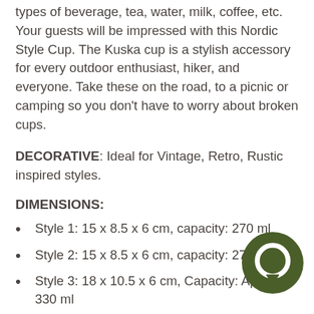types of beverage, tea, water, milk, coffee, etc. Your guests will be impressed with this Nordic Style Cup. The Kuska cup is a stylish accessory for every outdoor enthusiast, hiker, and everyone. Take these on the road, to a picnic or camping so you don't have to worry about broken cups.
DECORATIVE: Ideal for Vintage, Retro, Rustic inspired styles.
DIMENSIONS:
Style 1:  15 x 8.5 x 6 cm, capacity: 270 ml
Style 2: 15 x 8.5 x 6 cm, capacity: 270 ml
Style 3: 18 x 10.5 x 6 cm, Capacity: Approx. 330 ml
Style 4: 13 x 8.5 x 5 cm, Capacity: Approx. [obscured] ml
Combo of 4: includes all 4 mugs, 4 FREE